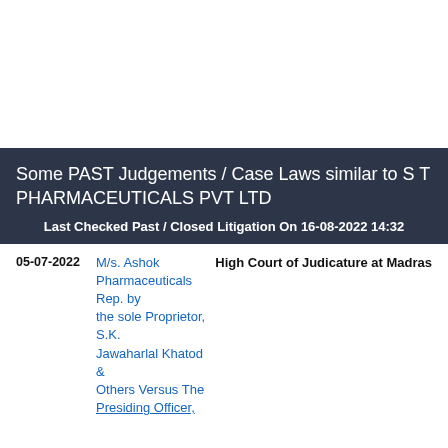Some PAST Judgements / Case Laws similar to S T PHARMACEUTICALS PVT LTD
Last Checked Past / Closed Litigation On 16-08-2022 14:32
05-07-2022   M/s. Ashok Pharmaceuticals Rep. by the sole Proprietor, S.K. Jawaharlal Khatod & Others Versus The Presiding Officer,   High Court of Judicature at Madras
[Figure (screenshot): Navigation popup bar with three buttons: Intro (home icon), Search (magnifying glass icon), Report (document icon), overlaid on the page with a blue dashed border background]
17-   Versus M/s. Laborate Pharmaceuticals India